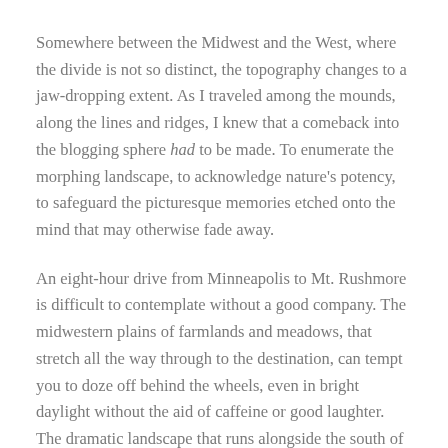Somewhere between the Midwest and the West, where the divide is not so distinct, the topography changes to a jaw-dropping extent. As I traveled among the mounds, along the lines and ridges, I knew that a comeback into the blogging sphere had to be made. To enumerate the morphing landscape, to acknowledge nature's potency, to safeguard the picturesque memories etched onto the mind that may otherwise fade away.
An eight-hour drive from Minneapolis to Mt. Rushmore is difficult to contemplate without a good company. The midwestern plains of farmlands and meadows, that stretch all the way through to the destination, can tempt you to doze off behind the wheels, even in bright daylight without the aid of caffeine or good laughter. The dramatic landscape that runs alongside the south of the interstate is rather invisible from the road. The drive on I-90 W